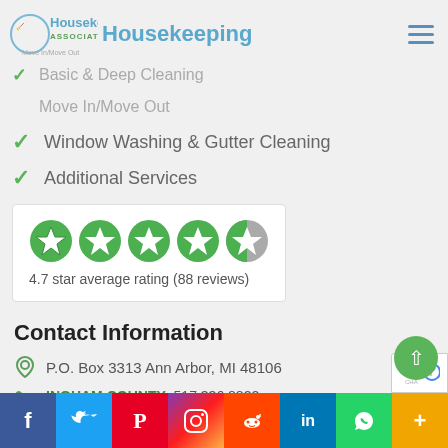Housekeeping Associates — navigation bar with logo
Basic & Deep Cleaning
Move In/Move Out
Window Washing & Gutter Cleaning
Additional Services
[Figure (infographic): 5 green star rating badges (4 full, 1 partial), with text: 4.7 star average rating (88 reviews)]
Contact Information
P.O. Box 3313 Ann Arbor, MI 48106
INGHAM COUNTY: 517.336.8822
WASHTENAW COUNTY: 734.741.8822
LIVINGSTON COUNTY: 810.220.0229
Social media links: Facebook, Twitter, Pinterest, Instagram, Reddit, LinkedIn, WhatsApp, More (+)